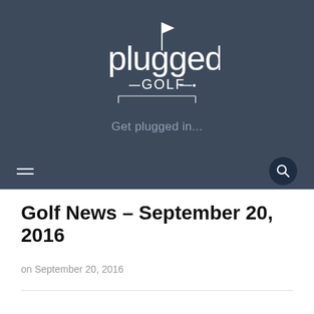[Figure (logo): Plugged In Golf logo with golf flag icon and text 'plugged in GOLF']
Get plugged in...
Golf News – September 20, 2016
on September 20, 2016